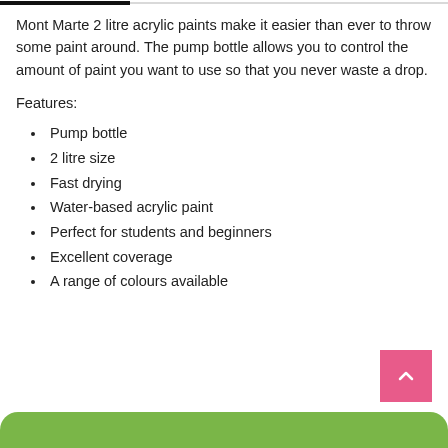Mont Marte 2 litre acrylic paints make it easier than ever to throw some paint around. The pump bottle allows you to control the amount of paint you want to use so that you never waste a drop.
Features:
Pump bottle
2 litre size
Fast drying
Water-based acrylic paint
Perfect for students and beginners
Excellent coverage
A range of colours available